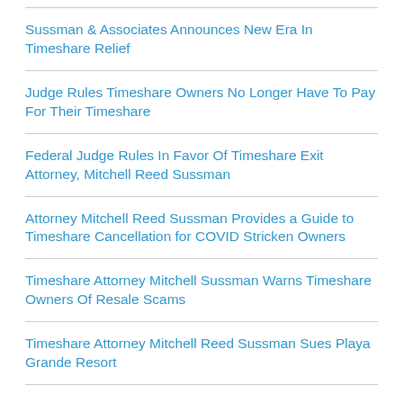Sussman & Associates Announces New Era In Timeshare Relief
Judge Rules Timeshare Owners No Longer Have To Pay For Their Timeshare
Federal Judge Rules In Favor Of Timeshare Exit Attorney, Mitchell Reed Sussman
Attorney Mitchell Reed Sussman Provides a Guide to Timeshare Cancellation for COVID Stricken Owners
Timeshare Attorney Mitchell Sussman Warns Timeshare Owners Of Resale Scams
Timeshare Attorney Mitchell Reed Sussman Sues Playa Grande Resort